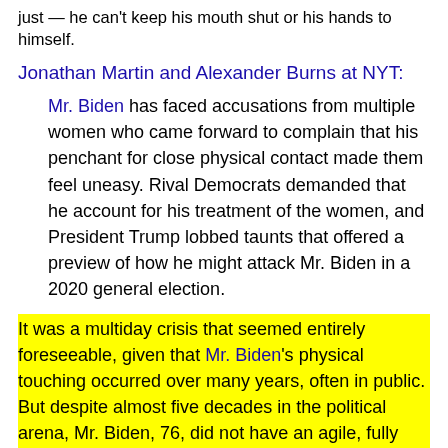just — he can't keep his mouth shut or his hands to himself.
Jonathan Martin and Alexander Burns at NYT:
Mr. Biden has faced accusations from multiple women who came forward to complain that his penchant for close physical contact made them feel uneasy. Rival Democrats demanded that he account for his treatment of the women, and President Trump lobbed taunts that offered a preview of how he might attack Mr. Biden in a 2020 general election.
It was a multiday crisis that seemed entirely foreseeable, given that Mr. Biden's physical touching occurred over many years, often in public. But despite almost five decades in the political arena, Mr. Biden, 76, did not have an agile, fully staffed campaign in place to confront it.
He issued three statements and one online video attempting to explain his conduct, only to joke